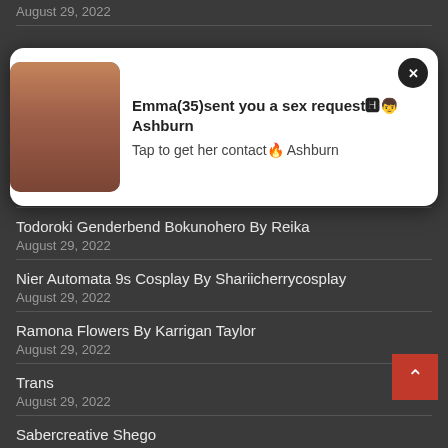August 29, 2022
[Figure (infographic): Popup ad notification with a photo of a woman and text: Emma(35)sent you a sex request Ashburn / Tap to get her contact Ashburn, with a close (x) button]
Azuracosplay
August 29, 2022
Todoroki Genderbend Bokunohero By Reika
August 29, 2022
Nier Automata 9s Cosplay By Shariicherrycosplay
August 29, 2022
Ramona Flowers By Karrigan Taylor
August 29, 2022
Trans
August 29, 2022
Sabercreative Shego